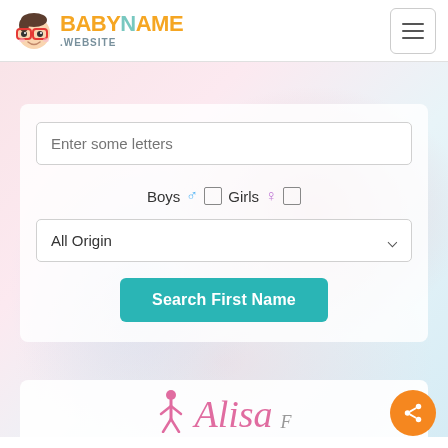[Figure (screenshot): BabyName.Website logo with cartoon baby face wearing glasses, orange BABY text and teal NAME text with .WEBSITE in grey below]
Enter some letters
Boys ♂ □ Girls ♀ □
All Origin
Search First Name
[Figure (photo): Baby lying down with blurred pink and blue soft background]
Alisa F